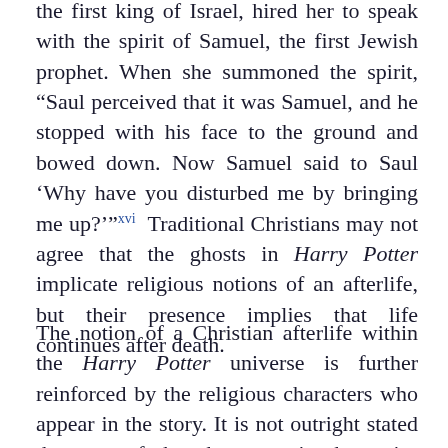the first king of Israel, hired her to speak with the spirit of Samuel, the first Jewish prophet. When she summoned the spirit, “Saul perceived that it was Samuel, and he stopped with his face to the ground and bowed down. Now Samuel said to Saul ‘Why have you disturbed me by bringing me up?’”xvi Traditional Christians may not agree that the ghosts in Harry Potter implicate religious notions of an afterlife, but their presence implies that life continues after death.
The notion of a Christian afterlife within the Harry Potter universe is further reinforced by the religious characters who appear in the story. It is not outright stated that any of the characters in the series identify with